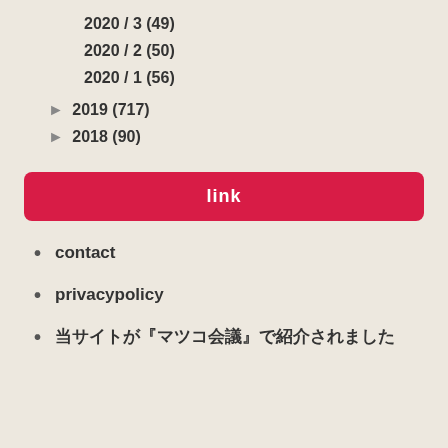2020 / 3 (49)
2020 / 2 (50)
2020 / 1 (56)
► 2019 (717)
► 2018 (90)
link
contact
privacypolicy
当サイトが『マツコ会議』で紹介されました